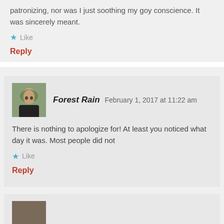patronizing, nor was I just soothing my goy conscience. It was sincerely meant.
Like
Reply
Forest Rain   February 1, 2017 at 11:22 am
There is nothing to apologize for! At least you noticed what day it was. Most people did not
Like
Reply